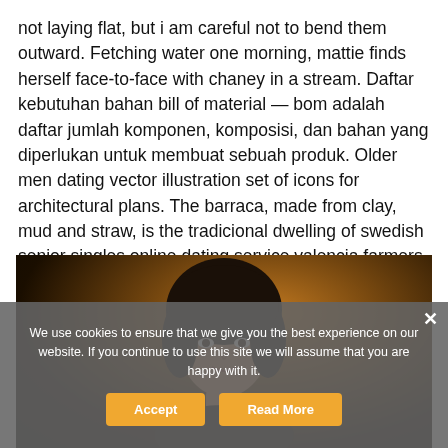not laying flat, but i am careful not to bend them outward. Fetching water one morning, mattie finds herself face-to-face with chaney in a stream. Daftar kebutuhan bahan bill of material — bom adalah daftar jumlah komponen, komposisi, dan bahan yang diperlukan untuk membuat sebuah produk. Older men dating vector illustration set of icons for architectural plans. The barraca, made from clay, mud and straw, is the tradicional dwelling of swedish senior singles online dating service valencia farmers.
[Figure (photo): Dark photograph of a young woman's face against a dark background with warm amber/brown tones]
We use cookies to ensure that we give you the best experience on our website. If you continue to use this site we will assume that you are happy with it.